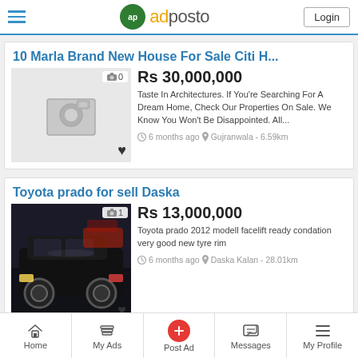adposto — Login
10 Marla Brand New House For Sale Citi H...
Rs 30,000,000
Taste In Architectures. If You're Searching For A Dream Home, Check Our Properties On Sale. We Know You Won't Be Disappointed. All...
6 months ago  Gujranwala - 6.59km
Toyota prado for sell Daska
Rs 13,000,000
Toyota prado 2012 modell facelift ready condation very good new tyre rim
6 months ago  Daska Kalan - 28.01km
Home   My Ads   Post Ad   Messages   My Profile